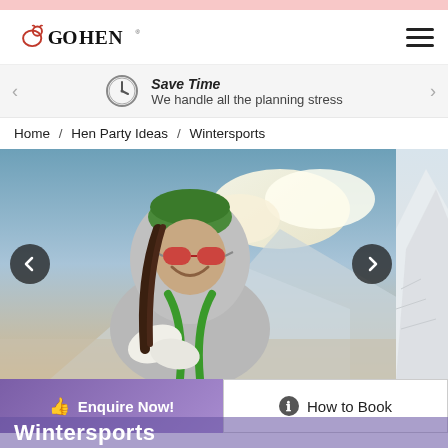[Figure (logo): Go Hen logo with stylized red hen icon and bold text GO HEN]
Save Time
We handle all the planning stress
Home / Hen Party Ideas / Wintersports
[Figure (photo): A smiling woman wearing a green beanie hat, red sunglasses, and a grey hoodie with green harness straps, holding white mittens, standing in front of a snowy mountain landscape with clouds.]
Enquire Now!
How to Book
Wintersports